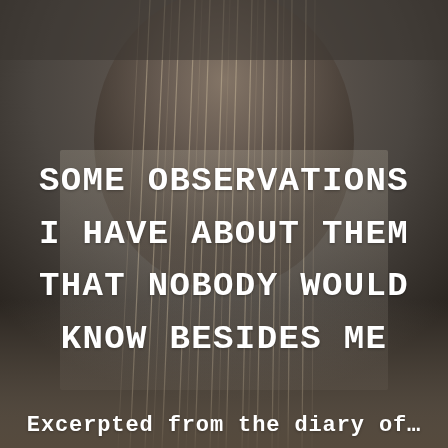[Figure (photo): A person photographed from behind showing the back of their head with long blonde/light brown hair, in a muted dark gray-brown interior setting. The image has a dark, desaturated tone.]
SOME OBSERVATIONS I HAVE ABOUT THEM THAT NOBODY WOULD KNOW BESIDES ME
Excerpted from the diary of...